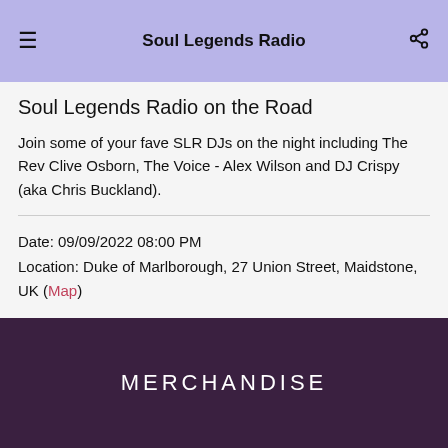Soul Legends Radio
Soul Legends Radio on the Road
Join some of your fave SLR DJs on the night including The Rev Clive Osborn, The Voice - Alex Wilson and DJ Crispy (aka Chris Buckland).
Date: 09/09/2022 08:00 PM
Location: Duke of Marlborough, 27 Union Street, Maidstone, UK (Map)
MERCHANDISE